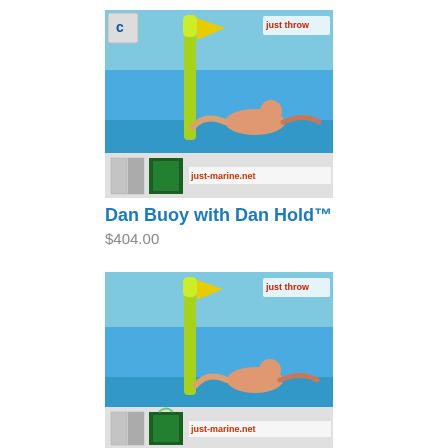[Figure (photo): Dan Buoy with Dan Hold product image showing a yellow buoy in water with a person swimming, and product packaging thumbnails, just-marine.net watermark]
Dan Buoy with Dan Hold™
$404.00
[Figure (photo): Dan Buoy with Dan Bag product image showing a yellow buoy in water with a person swimming, and product packaging thumbnails, just-marine.net watermark]
Dan Buoy with Dan Bag™
$404.00
[Figure (photo): Third product image showing yellow ladder/boarding aid with light blue background, partially visible]